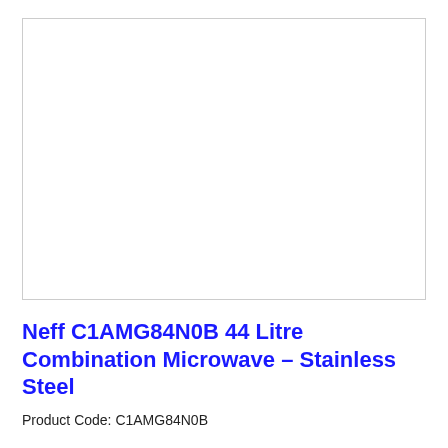[Figure (photo): Product image placeholder – empty white box with light grey border for Neff C1AMG84N0B combination microwave]
Neff C1AMG84N0B 44 Litre Combination Microwave – Stainless Steel
Product Code: C1AMG84N0B